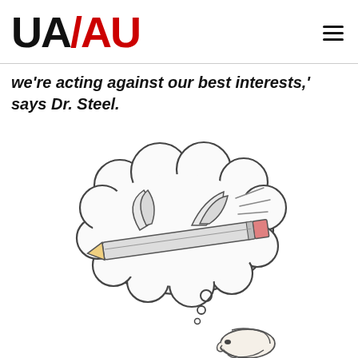UA/AU
we're acting against our best interests,' says Dr. Steel.
[Figure (illustration): A pencil with wings flying inside a thought bubble above the head of a person, suggesting creative or academic thinking. The illustration is a black-and-white line drawing.]